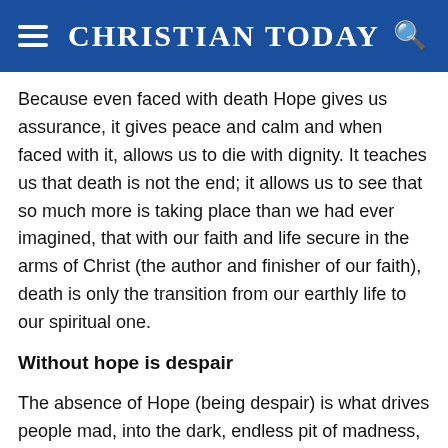CHRISTIAN TODAY
Because even faced with death Hope gives us assurance, it gives peace and calm and when faced with it, allows us to die with dignity. It teaches us that death is not the end; it allows us to see that so much more is taking place than we had ever imagined, that with our faith and life secure in the arms of Christ (the author and finisher of our faith), death is only the transition from our earthly life to our spiritual one.
Without hope is despair
The absence of Hope (being despair) is what drives people mad, into the dark, endless pit of madness, into insanity and eventually suicide. I have been gripped by despair a few times in my life and it is a dreadful thing. To be standing on the precipice of that echoing chasm of darkness, of